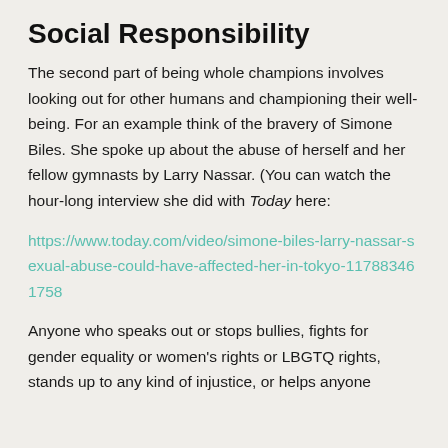Social Responsibility
The second part of being whole champions involves looking out for other humans and championing their well-being. For an example think of the bravery of Simone Biles. She spoke up about the abuse of herself and her fellow gymnasts by Larry Nassar. (You can watch the hour-long interview she did with Today here:
https://www.today.com/video/simone-biles-larry-nassar-sexual-abuse-could-have-affected-her-in-tokyo-117883461758
Anyone who speaks out or stops bullies, fights for gender equality or women's rights or LBGTQ rights, stands up to any kind of injustice, or helps anyone